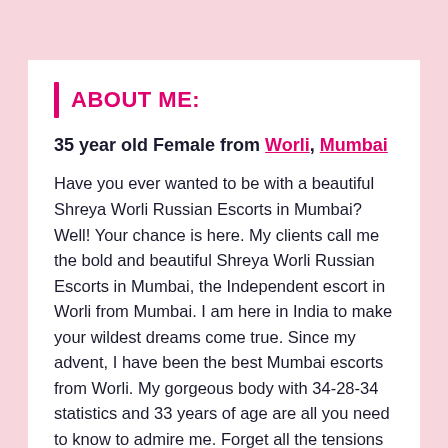ABOUT ME:
35 year old Female from Worli, Mumbai
Have you ever wanted to be with a beautiful Shreya Worli Russian Escorts in Mumbai? Well! Your chance is here. My clients call me the bold and beautiful Shreya Worli Russian Escorts in Mumbai, the Independent escort in Worli from Mumbai. I am here in India to make your wildest dreams come true. Since my advent, I have been the best Mumbai escorts from Worli. My gorgeous body with 34-28-34 statistics and 33 years of age are all you need to know to admire me. Forget all the tensions when my creamy white colored soft skin will pamper you. My auburn cascading hair adorning my glowing 5‘5’’ body is perfect to get lost in a dark abyss of